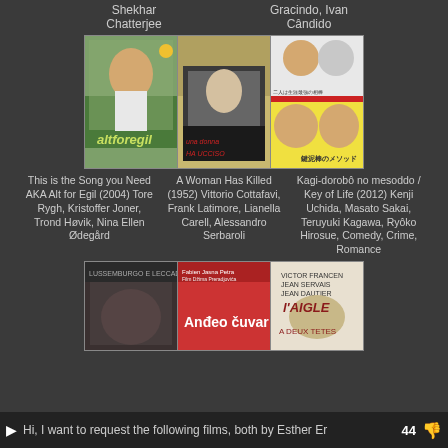Shekhar Chatterjee
Gracindo, Ivan Cândido
[Figure (photo): Movie poster for 'alt for egil' (2004) - Norwegian film showing a young man's face]
[Figure (photo): Movie poster for 'Una donna ha ucciso' (A Woman Has Killed, 1952) - Italian film noir poster]
[Figure (photo): Movie poster for 'Kagi-dorobô no mesoddo / Key of Life' (2012) - Japanese film poster]
This is the Song you Need AKA Alt for Egil (2004) Tore Rygh, Kristoffer Joner, Trond Høvik, Nina Ellen Ødegård
A Woman Has Killed (1952) Vittorio Cottafavi, Frank Latimore, Lianella Carell, Alessandro Serbaroli
Kagi-dorobô no mesoddo / Key of Life (2012) Kenji Uchida, Masato Sakai, Teruyuki Kagawa, Ryôko Hirosue, Comedy, Crime, Romance
[Figure (photo): Partial movie poster - dark toned]
[Figure (photo): Partial movie poster - 'Anđeo čuvar']
[Figure (photo): Partial movie poster - L'Aigle]
Hi, I want to request the following films, both by Esther Er  44